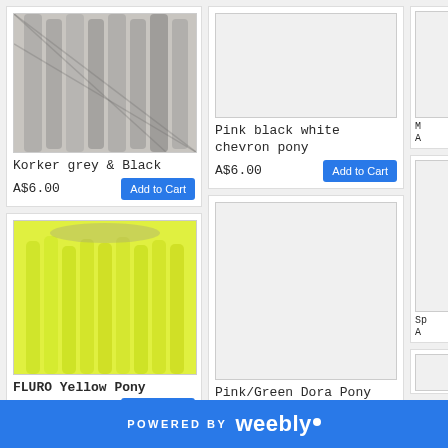[Figure (photo): Korker grey and black ribbon ponytail photo]
Korker grey & Black
A$6.00
[Figure (photo): FLURO yellow pony ribbon photo]
FLURO Yellow Pony
A$6.00
[Figure (photo): Pink multicolor pony partial photo]
[Figure (photo): Pink black white chevron pony - empty image placeholder]
Pink black white chevron pony
A$6.00
[Figure (photo): Pink/Green Dora Pony - empty image placeholder]
Pink/Green Dora Pony
A$6.00
[Figure (photo): Bottom product placeholder]
M
A
Sp
A
POWERED BY weebly